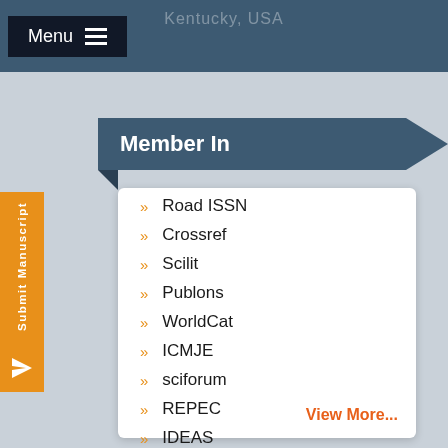Kentucky, USA
Member In
Road ISSN
Crossref
Scilit
Publons
WorldCat
ICMJE
sciforum
REPEC
IDEAS
View More...